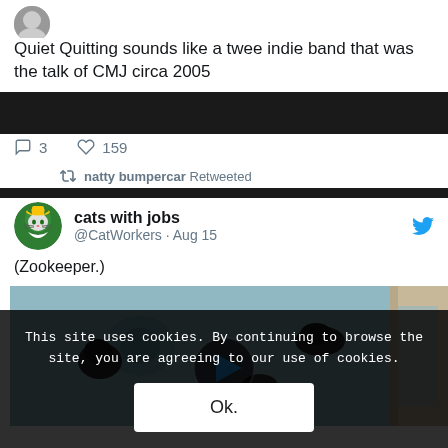[Figure (screenshot): Partial Twitter profile avatar at top left]
Quiet Quitting sounds like a twee indie band that was the talk of CMJ circa 2005
3  159
natty bumpercar Retweeted
[Figure (photo): cats with jobs Twitter avatar: cartoon cat with yellow hat]
cats with jobs @CatWorkers · Aug 15
(Zookeeper.)
[Figure (photo): Video thumbnail showing animals swimming in water, with a play button overlay]
This site uses cookies. By continuing to browse the site, you are agreeing to our use of cookies.
Ok.